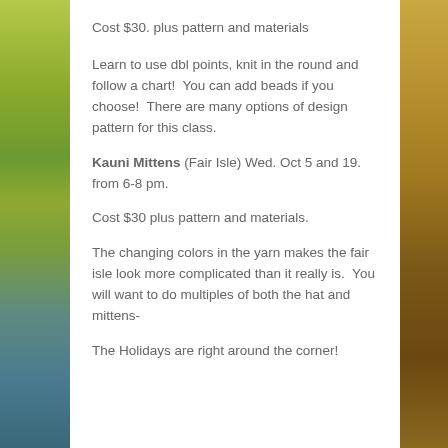Cost $30. plus pattern and materials
Learn to use dbl points, knit in the round and follow a chart!  You can add beads if you choose!  There are many options of design pattern for this class.
Kauni Mittens (Fair Isle) Wed. Oct 5 and 19. from 6-8 pm.
Cost $30 plus pattern and materials.
The changing colors in the yarn makes the fair isle look more complicated than it really is.  You will want to do multiples of both the hat and mittens-
The Holidays are right around the corner!